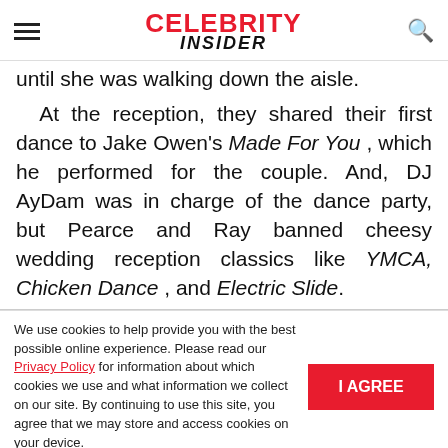CELEBRITY INSIDER
until she was walking down the aisle.
At the reception, they shared their first dance to Jake Owen's Made For You, which he performed for the couple. And, DJ AyDam was in charge of the dance party, but Pearce and Ray banned cheesy wedding reception classics like YMCA, Chicken Dance, and Electric Slide.
We use cookies to help provide you with the best possible online experience. Please read our Privacy Policy for information about which cookies we use and what information we collect on our site. By continuing to use this site, you agree that we may store and access cookies on your device.